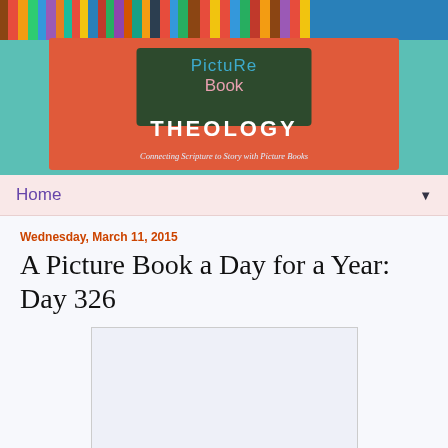[Figure (photo): Blog header banner showing a bookshelf strip at top, with a coral/red background banner featuring a chalkboard sign reading 'Picture Book' and text 'THEOLOGY' below it, with subtitle 'Connecting Scripture to Story with Picture Books']
Home
Wednesday, March 11, 2015
A Picture Book a Day for a Year: Day 326
[Figure (photo): Blank/white image placeholder within the blog post content area]